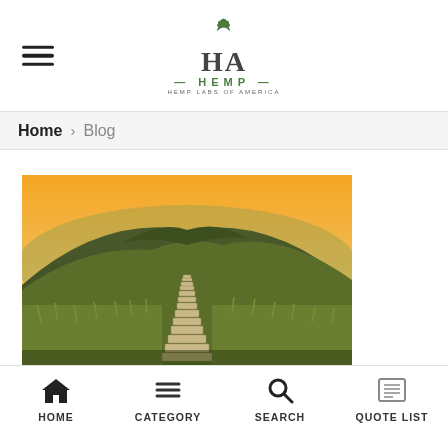[Figure (logo): Hemp Labs of America (HA Hemp) logo with green cannabis leaf, large HA letters, -HEMP- text and Hemp Labs of America subtitle]
Home > Blog
[Figure (photo): A stone stairway path leading up a grassy hill at sunset with golden orange sky]
HOME | CATEGORY | SEARCH | Quote list